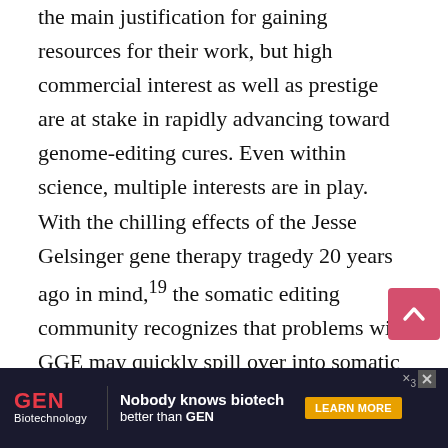the main justification for gaining resources for their work, but high commercial interest as well as prestige are at stake in rapidly advancing toward genome-editing cures. Even within science, multiple interests are in play. With the chilling effects of the Jesse Gelsinger gene therapy tragedy 20 years ago in mind,19 the somatic editing community recognizes that problems with GGE may quickly spill over into somatic research. For this community, blocking or delaying GGE may reduce the risk of disrupting the growing market for somatic editing. For those in GGE, however, a green light now gives more leverage to those who can move quickest within newly esta[blished]... [×3] can[not]...
[Figure (other): Pink/red scroll-to-top button with upward chevron arrow, positioned bottom right]
[Figure (other): GEN Biotechnology advertisement banner: dark background, GEN logo in red, tagline 'Nobody knows biotech better than GEN', orange LEARN MORE button, close/X button top right]